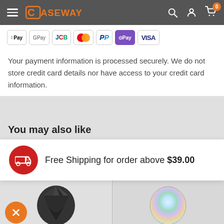CASEWAY - navigation header with search, account, and cart icons
[Figure (screenshot): Payment method icons: Apple Pay, Google Pay, JCB, Mastercard, PayPal, OPay, Visa]
Your payment information is processed securely. We do not store credit card details nor have access to your credit card information.
You may also like
Free Shipping for order above $39.00
[Figure (photo): Two product thumbnail images at bottom of page — a dark geometric phone case and a holographic/iridescent phone case]